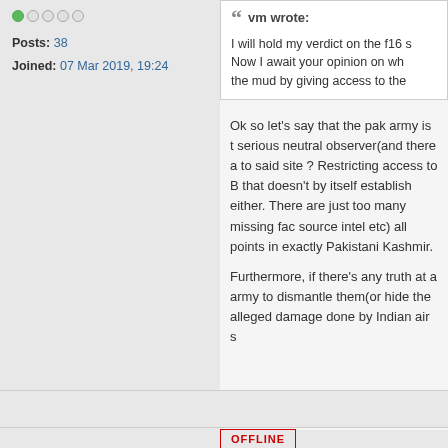Posts: 38
Joined: 07 Mar 2019, 19:24
vm wrote:

I will hold my verdict on the f16 s Now I await your opinion on wh the mud by giving access to the
Ok so let's say that the pak army is t serious neutral observer(and there a to said site ? Restricting access to B that doesn't by itself establish either. There are just too many missing fac source intel etc) all points in exactly Pakistani Kashmir.

Furthermore, if there's any truth at a army to dismantle them(or hide the alleged damage done by Indian air s
OFFLINE
28 Mar 2019, 14:45